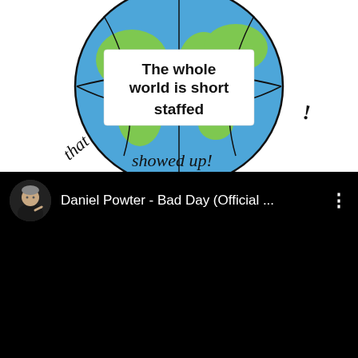[Figure (illustration): Illustration of a globe/earth with text reading 'The whole world is short staffed' in a banner across the middle, and handwritten-style text around it reading 'that showed up!']
[Figure (screenshot): YouTube video thumbnail/player showing Daniel Powter - Bad Day (Official ... with a circular avatar of a man in dark clothing on the left, video title text in white on black background, and three-dot menu icon on the right. The main video area is black.]